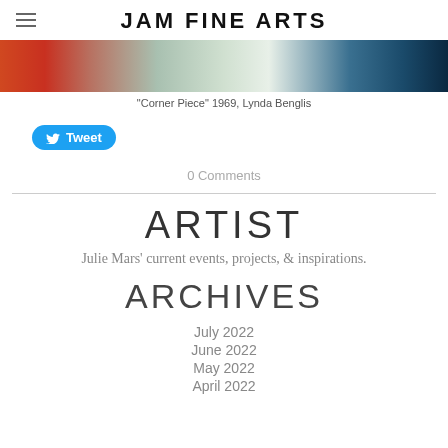JAM FINE ARTS
[Figure (photo): Cropped top portion of an artwork photograph showing orange and teal/blue color blocks]
"Corner Piece" 1969, Lynda Benglis
[Figure (other): Twitter Tweet button (blue rounded rectangle with bird icon)]
0 Comments
ARTIST
Julie Mars' current events, projects, & inspirations.
ARCHIVES
July 2022
June 2022
May 2022
April 2022